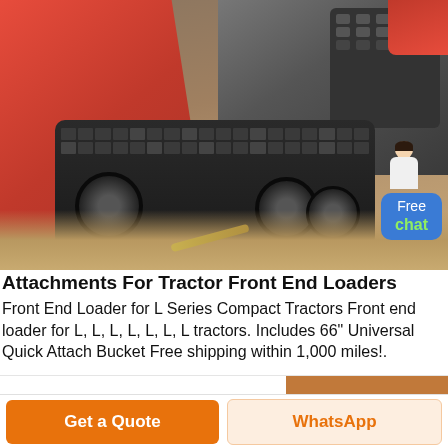[Figure (photo): Photo of a red tracked mini loader/tractor attachment on dry grass. Shows the red bucket on the left, rubber tracks in the center, and an engine unit on the upper right. A 'Free chat' customer service badge overlays the bottom-right of the image.]
Attachments For Tractor Front End Loaders
Front End Loader for L Series Compact Tractors Front end loader for L, L, L, L, L, L, L tractors. Includes 66" Universal Quick Attach Bucket Free shipping within 1,000 miles!.
INQUIRY »
Get a Quote
WhatsApp